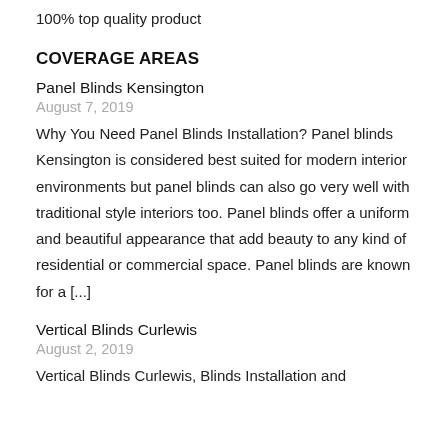100% top quality product
COVERAGE AREAS
Panel Blinds Kensington
August 7, 2019
Why You Need Panel Blinds Installation? Panel blinds Kensington is considered best suited for modern interior environments but panel blinds can also go very well with traditional style interiors too. Panel blinds offer a uniform and beautiful appearance that add beauty to any kind of residential or commercial space. Panel blinds are known for a [...]
Vertical Blinds Curlewis
August 2, 2019
Vertical Blinds Curlewis, Blinds Installation and